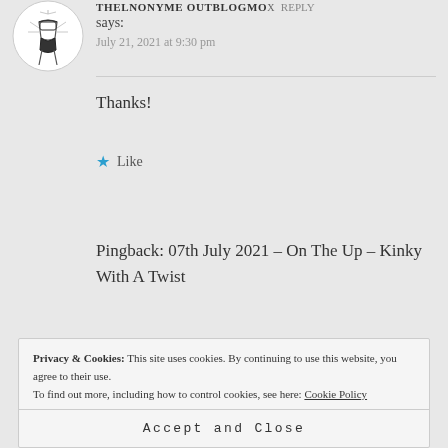[Figure (illustration): Avatar image of a stylized figure wearing lingerie, black and white illustration]
THELNONYME OUTBlogMox Reply says:
July 21, 2021 at 9:30 pm
Thanks!
★ Like
Pingback: 07th July 2021 – On The Up – Kinky With A Twist
Privacy & Cookies: This site uses cookies. By continuing to use this website, you agree to their use.
To find out more, including how to control cookies, see here: Cookie Policy
Accept and Close